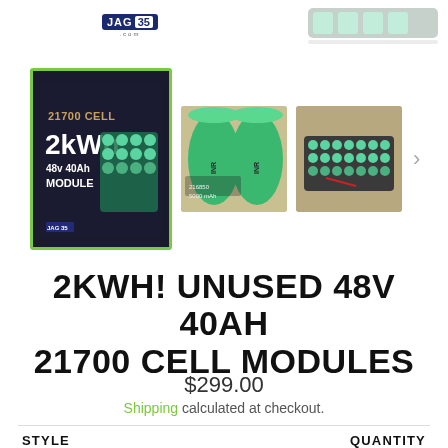[Figure (screenshot): JAG35 logo in dark blue box with white text]
[Figure (photo): Product thumbnail gallery showing 21700 cell 2kWh 48v 40Ah module battery pack images. First thumbnail selected with green border showing product advertisement image. Second thumbnail showing green cylindrical battery cells. Third thumbnail showing battery module pack assembled.]
2KWH! UNUSED 48V 40AH 21700 CELL MODULES
$299.00
Shipping calculated at checkout.
STYLE
QUANTITY